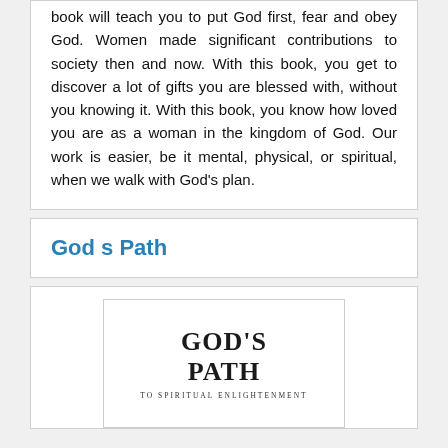book will teach you to put God first, fear and obey God. Women made significant contributions to society then and now. With this book, you get to discover a lot of gifts you are blessed with, without you knowing it. With this book, you know how loved you are as a woman in the kingdom of God. Our work is easier, be it mental, physical, or spiritual, when we walk with God's plan.
God s Path
[Figure (illustration): Book cover image for 'God's Path to Spiritual Enlightenment' showing the title in large serif font]